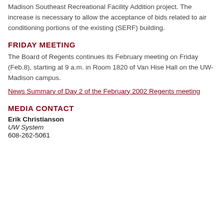Madison Southeast Recreational Facility Addition project. The increase is necessary to allow the acceptance of bids related to air conditioning portions of the existing (SERF) building.
FRIDAY MEETING
The Board of Regents continues its February meeting on Friday (Feb.8), starting at 9 a.m. in Room 1820 of Van Hise Hall on the UW-Madison campus.
News Summary of Day 2 of the February 2002 Regents meeting
MEDIA CONTACT
Erik Christianson
UW System
608-262-5061